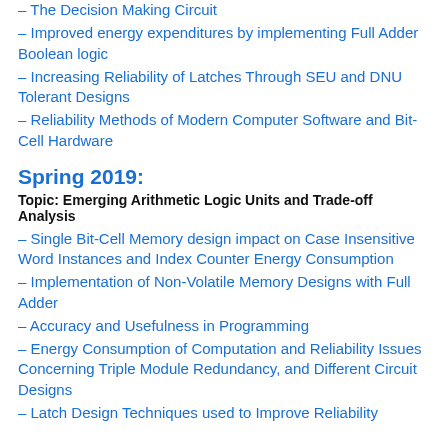– The Decision Making Circuit
– Improved energy expenditures by implementing Full Adder Boolean logic
– Increasing Reliability of Latches Through SEU and DNU Tolerant Designs
– Reliability Methods of Modern Computer Software and Bit-Cell Hardware
Spring 2019:
Topic: Emerging Arithmetic Logic Units and Trade-off Analysis
– Single Bit-Cell Memory design impact on Case Insensitive Word Instances and Index Counter Energy Consumption
– Implementation of Non-Volatile Memory Designs with Full Adder
– Accuracy and Usefulness in Programming
– Energy Consumption of Computation and Reliability Issues Concerning Triple Module Redundancy, and Different Circuit Designs
– Latch Design Techniques used to Improve Reliability